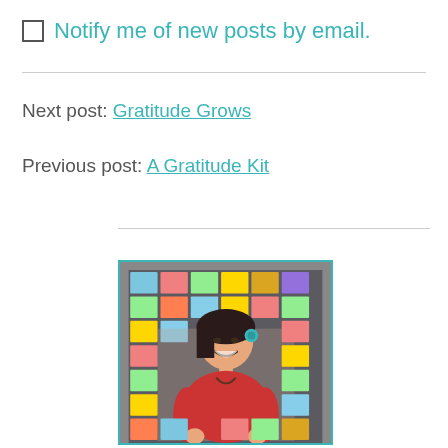Notify me of new posts by email.
Next post: Gratitude Grows
Previous post: A Gratitude Kit
[Figure (photo): A smiling woman with dark hair wearing a red top and a flower in her hair, standing in front of a wall covered with colorful small paintings. She is laughing and holding something in her hands.]